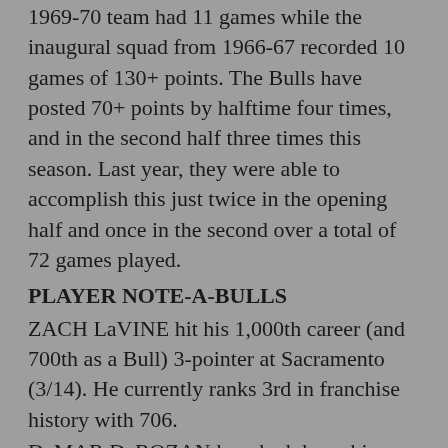1969-70 team had 11 games while the inaugural squad from 1966-67 recorded 10 games of 130+ points. The Bulls have posted 70+ points by halftime four times, and in the second half three times this season. Last year, they were able to accomplish this just twice in the opening half and once in the second over a total of 72 games played.
PLAYER NOTE-A-BULLS
ZACH LaVINE hit his 1,000th career (and 700th as a Bull) 3-pointer at Sacramento (3/14). He currently ranks 3rd in franchise history with 706.
DeMAR DeROZAN knocked down his 7,000th career shot vs. Cleveland (3/12).
NIKOLA VUČEVIĆ notched his 49th double-